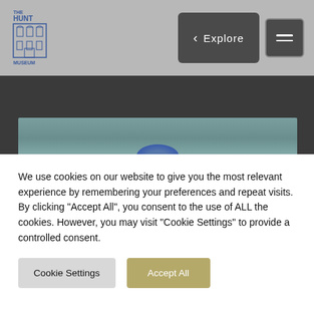[Figure (logo): The Hunt Museum logo — stylized building facade with the text THE HUNT MUSEUM in blue]
[Figure (screenshot): Navigation bar with back arrow and Explore button (dark gray), and hamburger menu button (dark gray with border)]
[Figure (photo): Partial museum artifact image — appears to be a blue decorative plate or bowl shown partially, against a grayish-teal background]
We use cookies on our website to give you the most relevant experience by remembering your preferences and repeat visits. By clicking “Accept All”, you consent to the use of ALL the cookies. However, you may visit “Cookie Settings” to provide a controlled consent.
Cookie Settings
Accept All